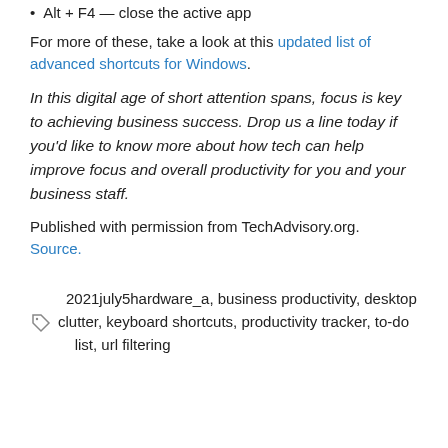Alt + F4 — close the active app
For more of these, take a look at this updated list of advanced shortcuts for Windows.
In this digital age of short attention spans, focus is key to achieving business success. Drop us a line today if you'd like to know more about how tech can help improve focus and overall productivity for you and your business staff.
Published with permission from TechAdvisory.org. Source.
2021july5hardware_a, business productivity, desktop clutter, keyboard shortcuts, productivity tracker, to-do list, url filtering